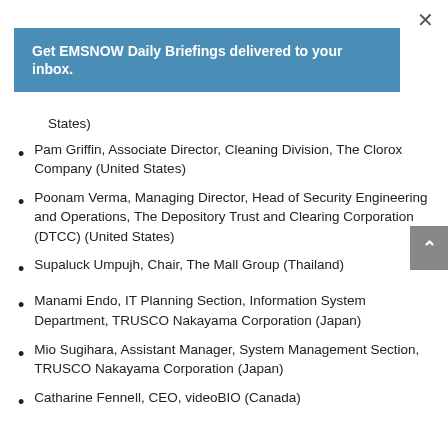[Figure (other): Close button (×) in top right corner]
[Figure (other): Blue banner: Get EMSNOW Daily Briefings delivered to your inbox.]
States)
Pam Griffin, Associate Director, Cleaning Division, The Clorox Company (United States)
Poonam Verma, Managing Director, Head of Security Engineering and Operations, The Depository Trust and Clearing Corporation (DTCC) (United States)
Supaluck Umpujh, Chair, The Mall Group (Thailand)
Manami Endo, IT Planning Section, Information System Department, TRUSCO Nakayama Corporation (Japan)
Mio Sugihara, Assistant Manager, System Management Section, TRUSCO Nakayama Corporation (Japan)
Catharine Fennell, CEO, videoBIO (Canada)